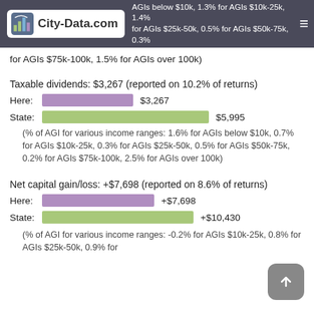City-Data.com — AGIs below $10k, 1.3% for AGIs $10k-25k, 1.4% for AGIs $25k-50k, 0.5% for AGIs $50k-75k, 0.3% for AGIs $75k-100k, 1.5% for AGIs over 100k
for AGIs $75k-100k, 1.5% for AGIs over 100k)
Taxable dividends: $3,267 (reported on 10.2% of returns)
[Figure (bar-chart): Taxable dividends comparison]
(% of AGI for various income ranges: 1.6% for AGIs below $10k, 0.7% for AGIs $10k-25k, 0.3% for AGIs $25k-50k, 0.5% for AGIs $50k-75k, 0.2% for AGIs $75k-100k, 2.5% for AGIs over 100k)
Net capital gain/loss: +$7,698 (reported on 8.6% of returns)
[Figure (bar-chart): Net capital gain/loss comparison]
(% of AGI for various income ranges: -0.2% for AGIs $10k-25k, 0.8% for AGIs $25k-50k, 0.9% for